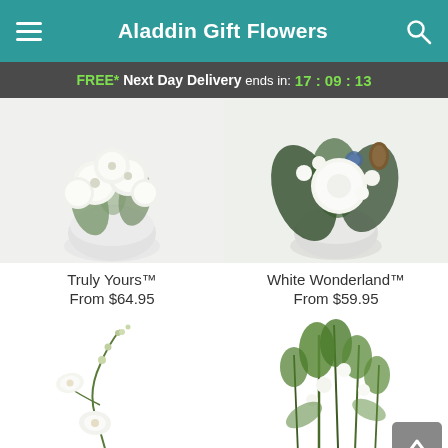Aladdin Gift Flowers
FREE* Next Day Delivery ends in: 17:09:13
[Figure (photo): Truly Yours floral arrangement - white flowers in a round white vase]
Truly Yours™
From $64.95
[Figure (photo): White Wonderland floral arrangement - white and green flowers in a round white vase]
White Wonderland™
From $59.95
[Figure (photo): Orchid stem with white flowers]
[Figure (photo): Green floral arrangement]